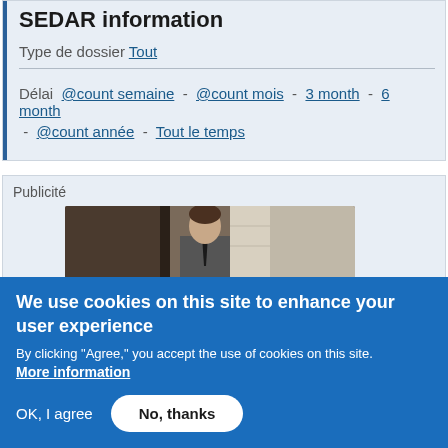SEDAR information
Type de dossier Tout
Délai @count semaine - @count mois - 3 month - 6 month - @count année - Tout le temps
Publicité
[Figure (photo): Man in suit photo used as advertisement image]
We use cookies on this site to enhance your user experience
By clicking "Agree," you accept the use of cookies on this site.
More information
OK, I agree
No, thanks